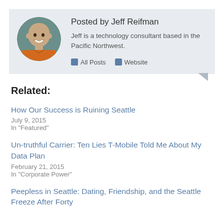[Figure (photo): Circular avatar photo of Jeff Reifman, a bald smiling man wearing an orange shirt]
Posted by Jeff Reifman
Jeff is a technology consultant based in the Pacific Northwest.
All Posts   Website
Related:
How Our Success is Ruining Seattle
July 9, 2015
In "Featured"
Un-truthful Carrier: Ten Lies T-Mobile Told Me About My Data Plan
February 21, 2015
In "Corporate Power"
Peepless in Seattle: Dating, Friendship, and the Seattle Freeze After Forty